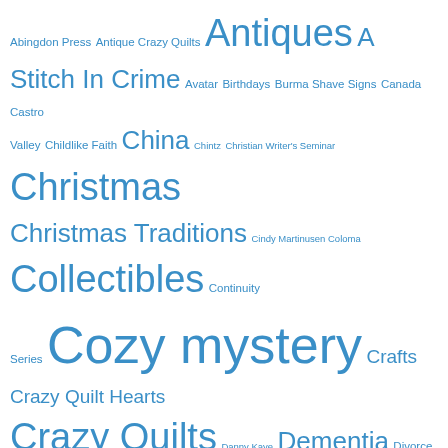[Figure (infographic): Tag cloud with blog/book topic keywords in varying blue font sizes. Topics include: Abingdon Press, Antique Crazy Quilts, Antiques, A Stitch In Crime, Avatar, Birthdays, Burma Shave Signs, Canada, Castro Valley, Childlike Faith, China, Chintz, Christian Writer's Seminar, Christmas, Christmas Traditions, Cindy Martinusen Coloma, Collectibles, Continuity Series, Cozy mystery, Crafts, Crazy Quilt Hearts, Crazy Quilts, Danny Kaye, Dementia, Divorce, Downton Abbey, Driving, Driving Directions, Emma's Legacy, Empathy, English Roses, Fourth of July, Friendship, Generosity, Goals, God's Lovingkindness, God's Provision, Gone With the Wind, Grandma's Stuff, Honda CRV, Library, Medals in the Attic, Memorial Day, Milk, Mother Love, Occasional Blog, Olympics, Paper dolls, Pearl Harbor, Pink Lustre, Pinterest, quilting, Quilting Mystery, Quilts & Quilting, Quilts for Japan, Raggedy Ann, Ralph Lauren, Recycling]